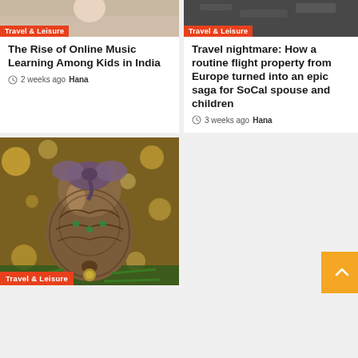[Figure (photo): Partial top of card 1 - photo of a person, Travel & Leisure tag]
The Rise of Online Music Learning Among Kids in India
2 weeks ago  Hana
[Figure (photo): Partial top of card 2 - dark rocky image, Travel & Leisure tag]
Travel nightmare: How a routine flight property from Europe turned into an epic saga for SoCal spouse and children
3 weeks ago  Hana
[Figure (photo): Christmas ornament bell with ribbon and pine branches, Travel & Leisure tag at bottom]